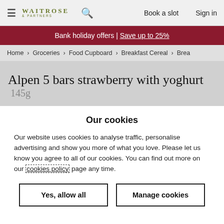≡ WAITROSE & PARTNERS  🔍  Book a slot  Sign in
Bank holiday offers | Save up to 25%
Home > Groceries > Food Cupboard > Breakfast Cereal > Brea
Alpen 5 bars strawberry with yoghurt 145g
Our cookies
Our website uses cookies to analyse traffic, personalise advertising and show you more of what you love. Please let us know you agree to all of our cookies. You can find out more on our cookies policy page any time.
Yes, allow all
Manage cookies